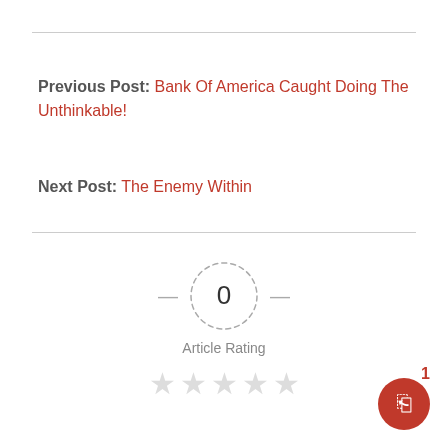Previous Post: Bank Of America Caught Doing The Unthinkable!
Next Post: The Enemy Within
[Figure (other): Article rating widget showing a dashed circle with '0' in the center, dashes on either side, label 'Article Rating', and five empty gray stars below]
[Figure (other): Red circular chat button with message icon and badge showing '1']